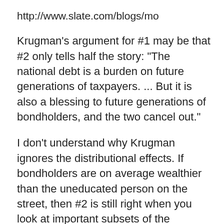http://www.slate.com/blogs/mo
Krugman's argument for #1 may be that #2 only tells half the story: "The national debt is a burden on future generations of taxpayers. ... But it is also a blessing to future generations of bondholders, and the two cancel out."
I don't understand why Krugman ignores the distributional effects. If bondholders are on average wealthier than the uneducated person on the street, then #2 is still right when you look at important subsets of the